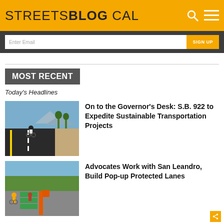STREETSBLOG CAL
Enter Email | SIGN UP
MOST RECENT
Today's Headlines
[Figure (photo): Cyclist riding on a newly paved road with protected bike lane markings, mountains visible in background]
On to the Governor's Desk: S.B. 922 to Expedite Sustainable Transportation Projects
[Figure (photo): Cyclists and pedestrians at an intersection with green painted protected bike lane pop-up infrastructure]
Advocates Work with San Leandro, Build Pop-up Protected Lanes